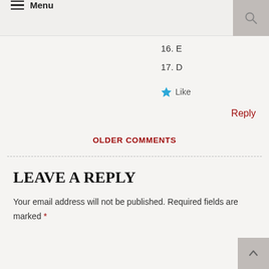Menu (hamburger icon) | Search icon
16. E
17. D
★ Like
Reply
Older Comments
LEAVE A REPLY
Your email address will not be published. Required fields are marked *